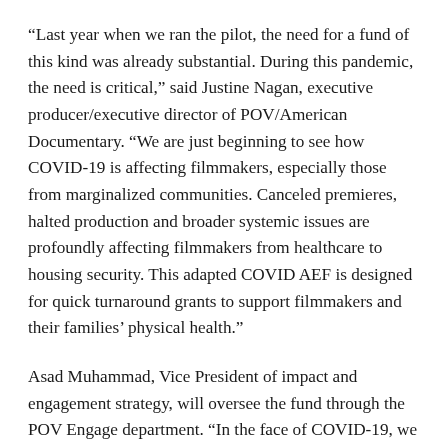“Last year when we ran the pilot, the need for a fund of this kind was already substantial. During this pandemic, the need is critical,” said Justine Nagan, executive producer/executive director of POV/American Documentary. “We are just beginning to see how COVID-19 is affecting filmmakers, especially those from marginalized communities. Canceled premieres, halted production and broader systemic issues are profoundly affecting filmmakers from healthcare to housing security. This adapted COVID AEF is designed for quick turnaround grants to support filmmakers and their families’ physical health.”
Asad Muhammad, Vice President of impact and engagement strategy, will oversee the fund through the POV Engage department. “In the face of COVID-19, we are seeing artists, especially artists-of-color at the forefront of innovative interventions and leading vital community responses to bring about mutual aid groups, joy and a sense of togetherness as we center ourselves inside our homes,” he said. “The hope is that these small grants can provide documentary filmmakers with some immediate